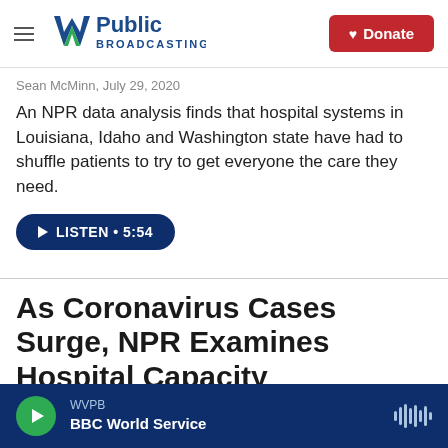W Public Broadcasting — Donate
Sean McMinn, July 29, 2020
An NPR data analysis finds that hospital systems in Louisiana, Idaho and Washington state have had to shuffle patients to try to get everyone the care they need.
LISTEN • 5:54
As Coronavirus Cases Surge, NPR Examines Hospital Capacity
WVPB — BBC World Service